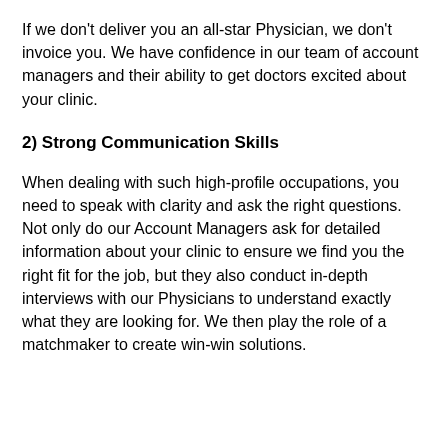If we don't deliver you an all-star Physician, we don't invoice you. We have confidence in our team of account managers and their ability to get doctors excited about your clinic.
2) Strong Communication Skills
When dealing with such high-profile occupations, you need to speak with clarity and ask the right questions. Not only do our Account Managers ask for detailed information about your clinic to ensure we find you the right fit for the job, but they also conduct in-depth interviews with our Physicians to understand exactly what they are looking for. We then play the role of a matchmaker to create win-win solutions.